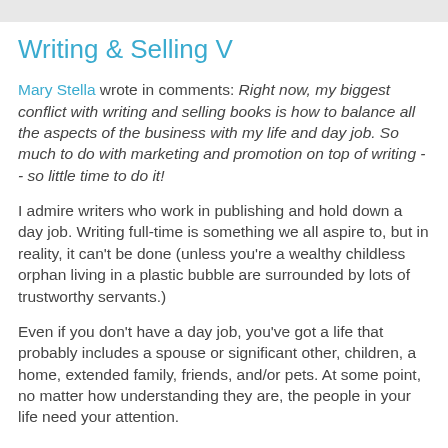Writing & Selling V
Mary Stella wrote in comments: Right now, my biggest conflict with writing and selling books is how to balance all the aspects of the business with my life and day job. So much to do with marketing and promotion on top of writing -- so little time to do it!
I admire writers who work in publishing and hold down a day job. Writing full-time is something we all aspire to, but in reality, it can't be done (unless you're a wealthy childless orphan living in a plastic bubble are surrounded by lots of trustworthy servants.)
Even if you don't have a day job, you've got a life that probably includes a spouse or significant other, children, a home, extended family, friends, and/or pets. At some point, no matter how understanding they are, the people in your life need your attention.